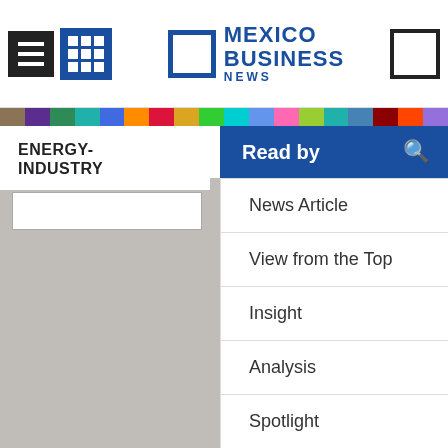[Figure (screenshot): Mexico Business News website header with hamburger menu, grid icon, logo, and search icon]
ENERGY-INDUSTRY
Read by
News Article
View from the Top
Insight
Analysis
Spotlight
Infographic
Map
Roundtable